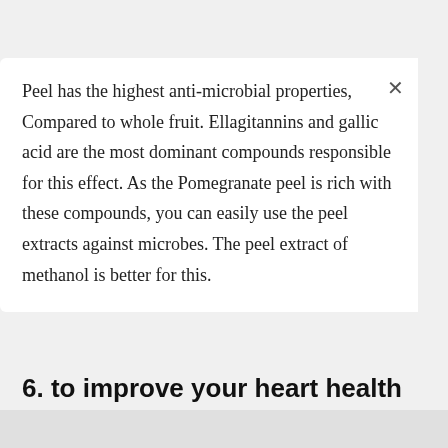Peel has the highest anti-microbial properties, Compared to whole fruit. Ellagitannins and gallic acid are the most dominant compounds responsible for this effect. As the Pomegranate peel is rich with these compounds, you can easily use the peel extracts against microbes. The peel extract of methanol is better for this.
6. to improve your heart health